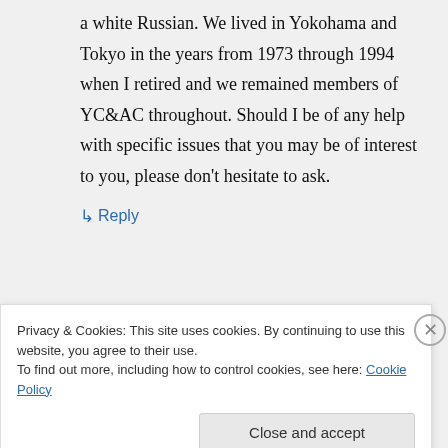a white Russian. We lived in Yokohama and Tokyo in the years from 1973 through 1994 when I retired and we remained members of YC&AC throughout. Should I be of any help with specific issues that you may be of interest to you, please don't hesitate to ask.
↳ Reply
Privacy & Cookies: This site uses cookies. By continuing to use this website, you agree to their use.
To find out more, including how to control cookies, see here: Cookie Policy
Close and accept